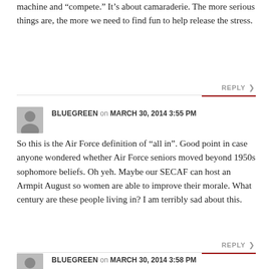machine and “compete.” It’s about camaraderie. The more serious things are, the more we need to find fun to help release the stress.
REPLY
BLUEGREEN on MARCH 30, 2014 3:55 PM
So this is the Air Force definition of “all in”. Good point in case anyone wondered whether Air Force seniors moved beyond 1950s sophomore beliefs. Oh yeh. Maybe our SECAF can host an Armpit August so women are able to improve their morale. What century are these people living in? I am terribly sad about this.
REPLY
BLUEGREEN on MARCH 30, 2014 3:58 PM